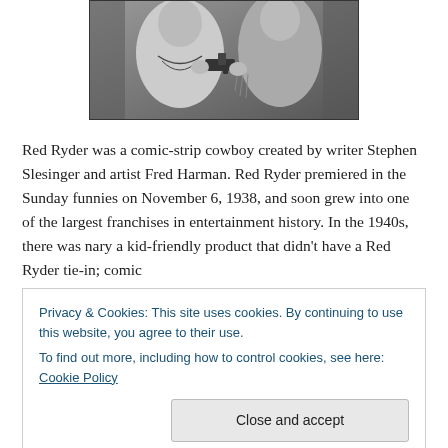[Figure (photo): Black and white photograph of two people in Western/cowboy attire, one holding a revolver pistol]
Red Ryder was a comic-strip cowboy created by writer Stephen Slesinger and artist Fred Harman. Red Ryder premiered in the Sunday funnies on November 6, 1938, and soon grew into one of the largest franchises in entertainment history. In the 1940s, there was nary a kid-friendly product that didn’t have a Red Ryder tie-in; comic
Privacy & Cookies: This site uses cookies. By continuing to use this website, you agree to their use.
To find out more, including how to control cookies, see here: Cookie Policy
Close and accept
put an eye out, but it was the most universal